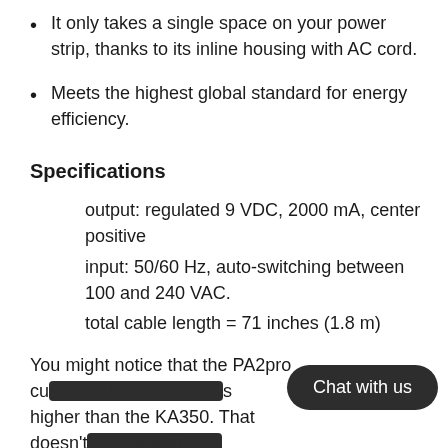It only takes a single space on your power strip, thanks to its inline housing with AC cord.
Meets the highest global standard for energy efficiency.
Specifications
output: regulated 9 VDC, 2000 mA, center positive
input: 50/60 Hz, auto-switching between 100 and 240 VAC.
total cable length = 71 inches (1.8 m)
You might notice that the PA2pro cu[...] s higher than the KA350. That doesn't [...] your delicate Volcas. The Volcas will only pull as much